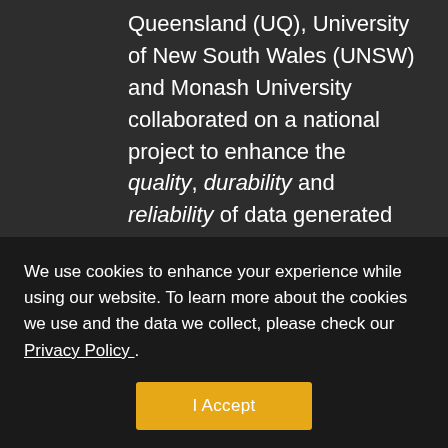Queensland (UQ), University of New South Wales (UNSW) and Monash University collaborated on a national project to enhance the quality, durability and reliability of data generated by NIF through the Trusted Data Repository project.
Quality pertains to a
We use cookies to enhance your experience while using our website. To learn more about the cookies we use and the data we collect, please check our Privacy Policy .